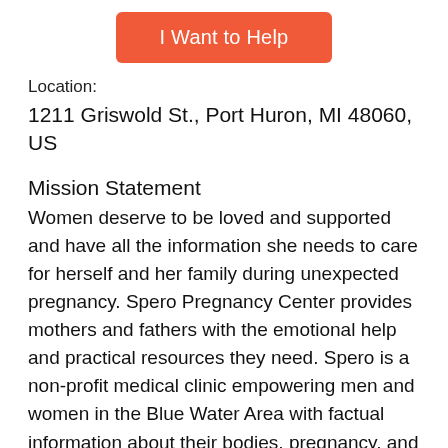[Figure (other): Orange button labeled 'I Want to Help']
Location:
1211 Griswold St., Port Huron, MI 48060, US
Mission Statement
Women deserve to be loved and supported and have all the information she needs to care for herself and her family during unexpected pregnancy. Spero Pregnancy Center provides mothers and fathers with the emotional help and practical resources they need. Spero is a non-profit medical clinic empowering men and women in the Blue Water Area with factual information about their bodies, pregnancy, and options. We offer free &